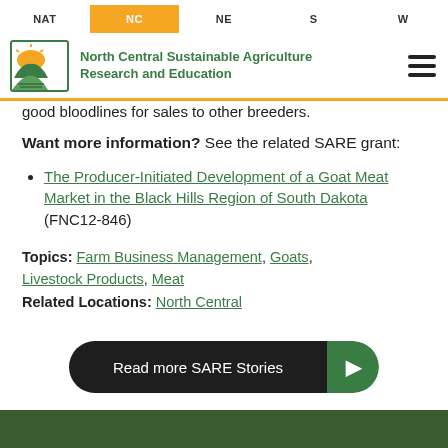NAT | NC | NE | S | W — North Central Sustainable Agriculture Research and Education
good bloodlines for sales to other breeders.
Want more information? See the related SARE grant:
The Producer-Initiated Development of a Goat Meat Market in the Black Hills Region of South Dakota (FNC12-846)
Topics: Farm Business Management, Goats, Livestock Products, Meat
Related Locations: North Central
Read more SARE Stories